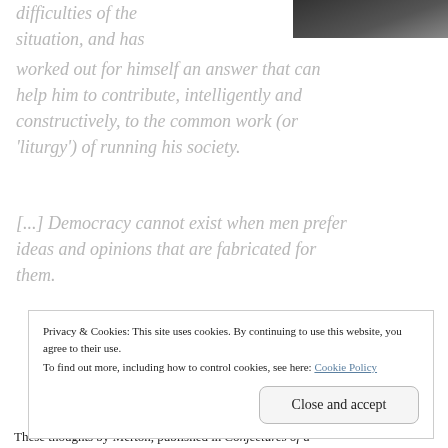[Figure (photo): Partial view of a person's head/portrait photo, dark tones, cropped in upper right corner]
difficulties of the situation, and has worked out for himself an answer that can help him to contribute, intelligently and constructively, to the common work (or 'liturgy') of running his society.
[...] Democracy cannot exist when men prefer ideas and opinions that are fabricated for them.
Privacy & Cookies: This site uses cookies. By continuing to use this website, you agree to their use.
To find out more, including how to control cookies, see here: Cookie Policy
Close and accept
These thoughts by Merton, published in Conjectures of a